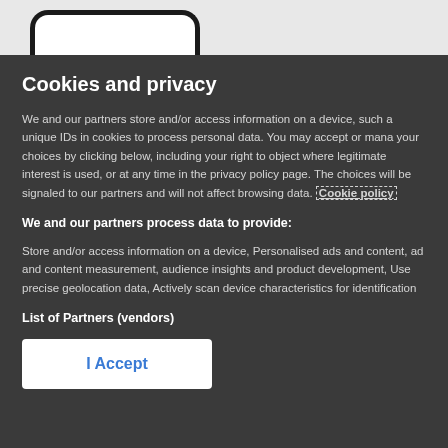[Figure (screenshot): Top portion of phone outline visible at top of page]
Cookies and privacy
We and our partners store and/or access information on a device, such as unique IDs in cookies to process personal data. You may accept or manage your choices by clicking below, including your right to object where legitimate interest is used, or at any time in the privacy policy page. These choices will be signaled to our partners and will not affect browsing data. Cookie policy
We and our partners process data to provide:
Store and/or access information on a device, Personalised ads and content, ad and content measurement, audience insights and product development, Use precise geolocation data, Actively scan device characteristics for identification
List of Partners (vendors)
I Accept